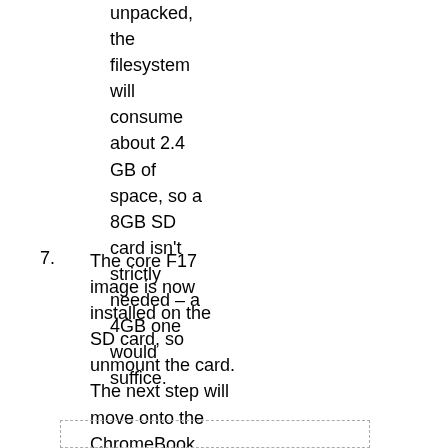unpacked, the filesystem will consume about 2.4 GB of space, so a 8GB SD card isn't strictly needed – a 4GB one would suffice.
7. The core F17 image is now installed on the SD card, so unmount the card. The next step will move onto the ChromeBook